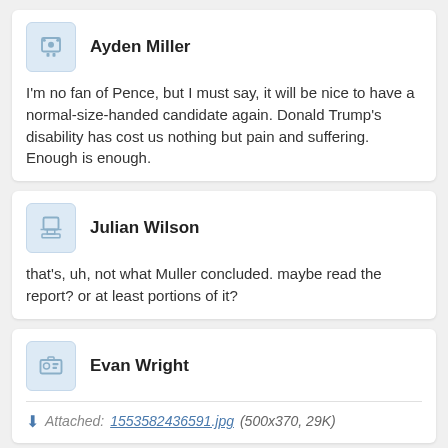Ayden Miller
I'm no fan of Pence, but I must say, it will be nice to have a normal-size-handed candidate again. Donald Trump's disability has cost us nothing but pain and suffering. Enough is enough.
Julian Wilson
that's, uh, not what Muller concluded. maybe read the report? or at least portions of it?
Evan Wright
Attached: 1553582436591.jpg (500x370, 29K)
Jason Torres